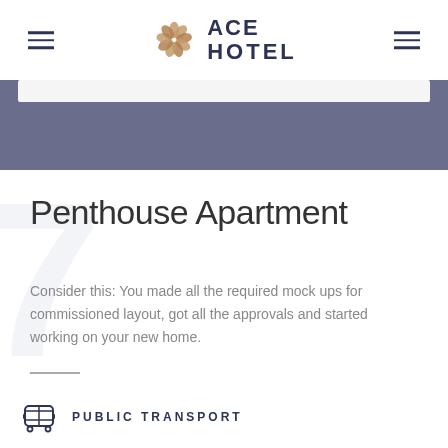ACE HOTEL
Penthouse Apartment
Consider this: You made all the required mock ups for commissioned layout, got all the approvals and started working on your new home.
PUBLIC TRANSPORT